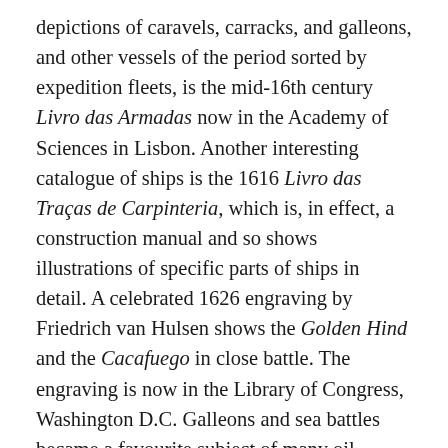depictions of caravels, carracks, and galleons, and other vessels of the period sorted by expedition fleets, is the mid-16th century Livro das Armadas now in the Academy of Sciences in Lisbon. Another interesting catalogue of ships is the 1616 Livro das Traças de Carpinteria, which is, in effect, a construction manual and so shows illustrations of specific parts of ships in detail. A celebrated 1626 engraving by Friedrich van Hulsen shows the Golden Hind and the Cacafuego in close battle. The engraving is now in the Library of Congress, Washington D.C. Galleons and sea battles became a favourite subject of many oil painters, too, particularly the Flemish masters. Finally, full-size replicas capable of sailing the seas have been made of several galleon ships, notably the Golden Hind on the south bank of the River Thames, London